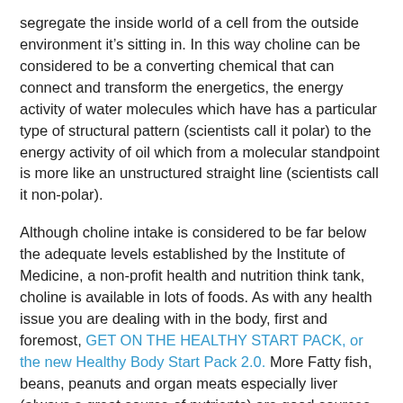segregate the inside world of a cell from the outside environment it’s sitting in. In this way choline can be considered to be a converting chemical that can connect and transform the energetics, the energy activity of water molecules which have has a particular type of structural pattern (scientists call it polar) to the energy activity of oil which from a molecular standpoint is more like an unstructured straight line (scientists call it non-polar).
Although choline intake is considered to be far below the adequate levels established by the Institute of Medicine, a non-profit health and nutrition think tank, choline is available in lots of foods. As with any health issue you are dealing with in the body, first and foremost, GET ON THE HEALTHY START PACK, or the new Healthy Body Start Pack 2.0. More Fatty fish, beans, peanuts and organ meats especially liver (always a great source of nutrients) are good sources. Collard greens, broccoli and Brussels sprouts are also rich in choline. Lecithin is one of the best sources; it’s largely composed of choline and choline derivatives. And of course choline is available as a nutritional supplement. There’s no RDA dose for choline, it wasn’t even recognized as an essential must-have nutrient until 1998, but 200 to